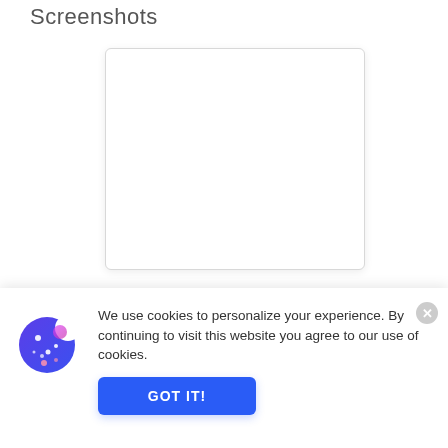Screenshots
[Figure (screenshot): Empty white screenshot placeholder box with light border and shadow]
[Figure (screenshot): Partial second screenshot placeholder with Live Chat button overlay]
We use cookies to personalize your experience. By continuing to visit this website you agree to our use of cookies.
GOT IT!